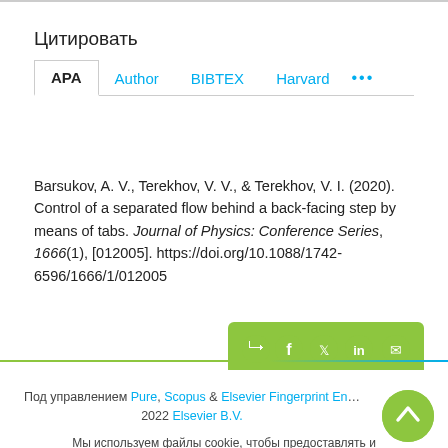Цитировать
APA  Author  BIBTEX  Harvard  ...
Barsukov, A. V., Terekhov, V. V., & Terekhov, V. I. (2020). Control of a separated flow behind a back-facing step by means of tabs. Journal of Physics: Conference Series, 1666(1), [012005]. https://doi.org/10.1088/1742-6596/1666/1/012005
Под управлением Pure, Scopus & Elsevier Fingerprint Engine — 2022 Elsevier B.V.
Мы используем файлы cookie, чтобы предоставлять и расширять наши услуги, а также подбирать контент. Продолжая,